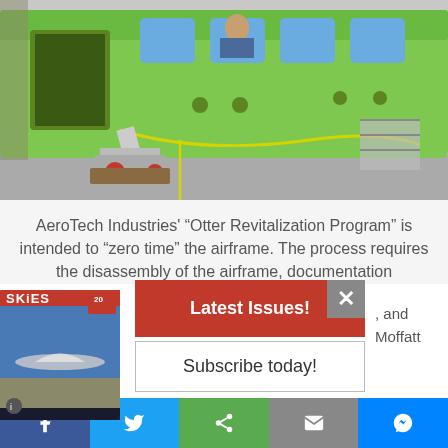[Figure (photo): Green aircraft fuselage/airframe in a hangar workshop, partially disassembled, with maintenance equipment and a worker visible through a window opening. Lime-green painted aircraft body with open doorways, a wheel jack/dolly underneath, and a yellow cable/rope. Workshop setting with tools and scaffolding in background.]
AeroTech Industries' “Otter Revitalization Program” is intended to “zero time” the airframe. The process requires the disassembly of the airframe, documentation
, and
Moffatt
[Figure (photo): SKIES magazine cover thumbnail showing an aircraft on a runway, with issue number 20 visible.]
Latest Issues!
Subscribe today!